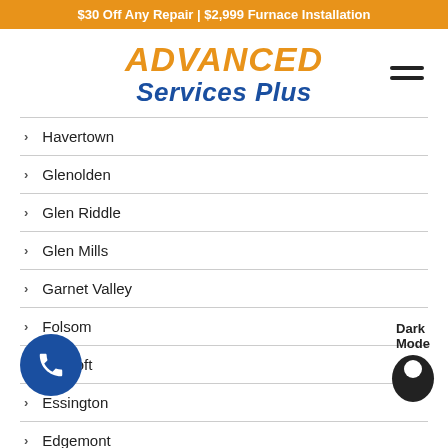$30 Off Any Repair | $2,999 Furnace Installation
ADVANCED Services Plus
Havertown
Glenolden
Glen Riddle
Glen Mills
Garnet Valley
Folsom
Folcroft
Essington
Edgemont
Drexel Hill
Darby
Crum Lynne